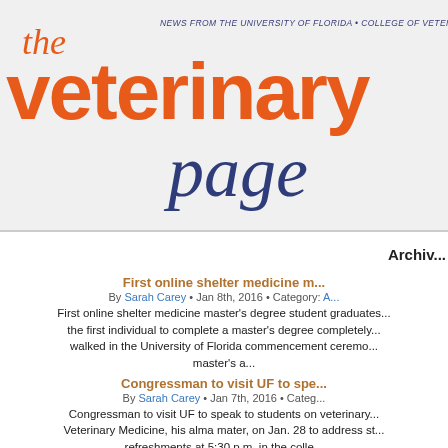[Figure (logo): The Veterinary Page logo with orange 'the veterinary' text and dark blue italic 'page' text on light gray background, with tagline 'NEWS FROM THE UNIVERSITY OF FLORIDA • COLLEGE OF VETERINARY ME...']
Archiv...
First online shelter medicine m...
By Sarah Carey • Jan 8th, 2016 • Category: A...
First online shelter medicine master's degree student graduates... the first individual to complete a master's degree completely... walked in the University of Florida commencement ceremo... master's a...
Congressman to visit UF to spe...
By Sarah Carey • Jan 7th, 2016 • Categ...
Congressman to visit UF to speak to students on veterinary... Veterinary Medicine, his alma mater, on Jan. 28 to address st... refreshments at 5:30 p.m. in the colle...
In th...